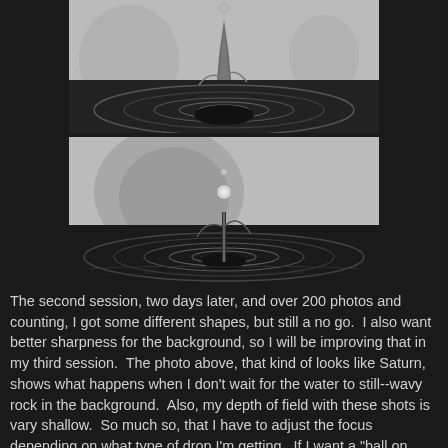[Figure (photo): Black and white macro photograph of a water drop splash, showing a crown/pillar shape with ripples on the water surface, and a blurred rock formation in the background.]
[Figure (photo): Black and white macro photograph of a water drop impact mid-fall above a dark crown splash with concentric ripples on the water surface, blurred rock formation in background resembling Saturn's rings.]
The second session, two days later, and over 200 photos and counting, I got some different shapes, but still a no go.  I also want better sharpness for the background, so I will be improving that in my third session.  The photo above, that kind of looks like Saturn, shows what happens when I don't wait for the water to still--wavy rock in the background.  Also, my depth of field with these shots is vary shallow.  So much so, that I have to adjust the focus depending on what type of drop I'm getting.  If I want a "ball on point" or a "round" drop by itself, it is a different focus than if I am wanting a "collision", which is when one